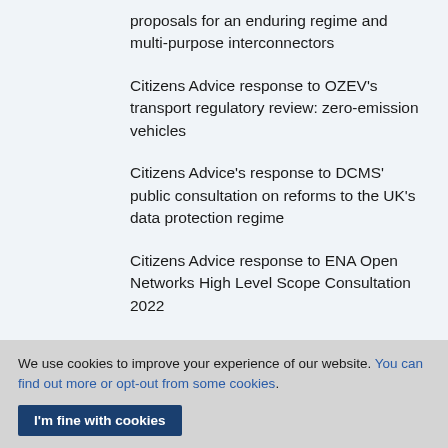proposals for an enduring regime and multi-purpose interconnectors
Citizens Advice response to OZEV's transport regulatory review: zero-emission vehicles
Citizens Advice's response to DCMS' public consultation on reforms to the UK's data protection regime
Citizens Advice response to ENA Open Networks High Level Scope Consultation 2022
Citizens Advice response to Ofgem's Call For Evidence – Transmission Network Use of System Charges
We use cookies to improve your experience of our website. You can find out more or opt-out from some cookies.
I'm fine with cookies